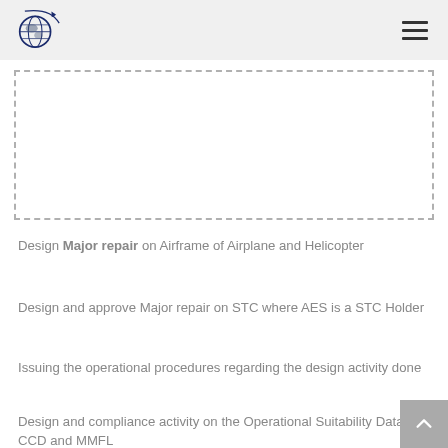AES aviation engineering services logo and navigation
[Figure (other): Dashed rectangle placeholder/image box]
Design Major repair on Airframe of Airplane and Helicopter
Design and approve Major repair on STC where AES is a STC Holder
Issuing the operational procedures regarding the design activity done
Design and compliance activity on the Operational Suitability Data FCD, CCD and MMFL